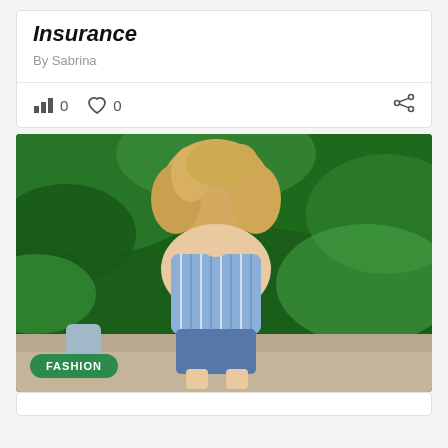Insurance
By Sabrina
0  0
[Figure (photo): Young woman with curly blonde hair sitting outdoors wearing a blue striped off-shoulder top and denim shorts, with a green leafy background. A FASHION badge overlay appears at bottom left.]